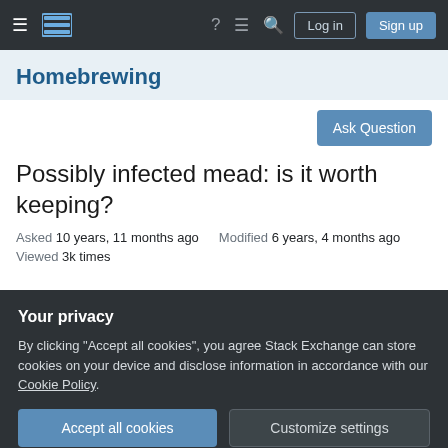Stack Exchange navigation bar with logo, icons, Log in, Sign up buttons
Homebrewing
Ask Question
Possibly infected mead: is it worth keeping?
Asked 10 years, 11 months ago   Modified 6 years, 4 months ago
Viewed 3k times
Your privacy
By clicking "Accept all cookies", you agree Stack Exchange can store cookies on your device and disclose information in accordance with our Cookie Policy.
Accept all cookies   Customize settings
This tip at the end that types me this one OK at first...